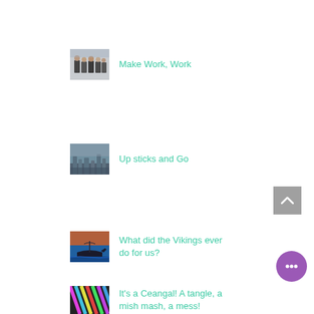[Figure (photo): Thumbnail image of a group of people in suits standing together]
Make Work, Work
[Figure (photo): Thumbnail image of a cityscape or harbor with misty atmosphere]
Up sticks and Go
[Figure (photo): Thumbnail image of a Viking ship sculpture at sunset]
What did the Vikings ever do for us?
[Figure (photo): Thumbnail image with colorful diagonal stripes or abstract pattern]
It's a Ceangal! A tangle, a mish mash, a mess!